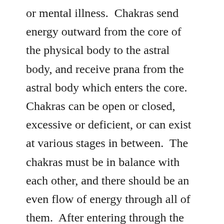or mental illness.  Chakras send energy outward from the core of the physical body to the astral body, and receive prana from the astral body which enters the core.  Chakras can be open or closed, excessive or deficient, or can exist at various stages in between.  The chakras must be in balance with each other, and there should be an even flow of energy through all of them.  After entering through the chakras, prana circulates within the physical body through meridians.  These meridians govern the functioning of the major organ systems of the body.  For each organ system to remain healthy and balanced, prana must flow freely through the meridians.